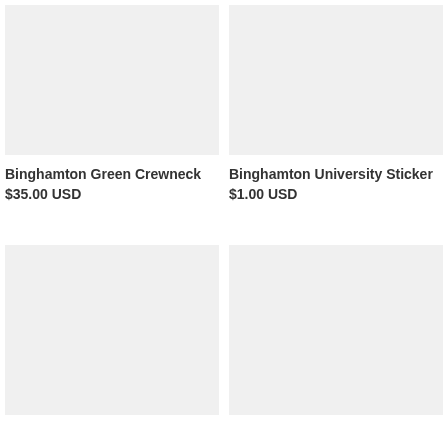[Figure (photo): Product image placeholder for Binghamton Green Crewneck, light gray background]
[Figure (photo): Product image placeholder for Binghamton University Sticker, light gray background]
Binghamton Green Crewneck
$35.00 USD
Binghamton University Sticker
$1.00 USD
[Figure (photo): Product image placeholder, light gray background, bottom left]
[Figure (photo): Product image placeholder, light gray background, bottom right]